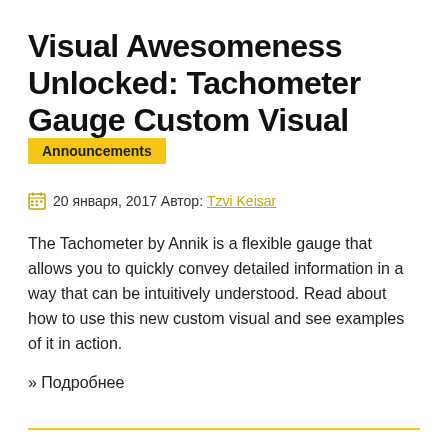Visual Awesomeness Unlocked: Tachometer Gauge Custom Visual
Announcements
20 января, 2017 Автор: Tzvi Keisar
The Tachometer by Annik is a flexible gauge that allows you to quickly convey detailed information in a way that can be intuitively understood. Read about how to use this new custom visual and see examples of it in action.
» Подробнее